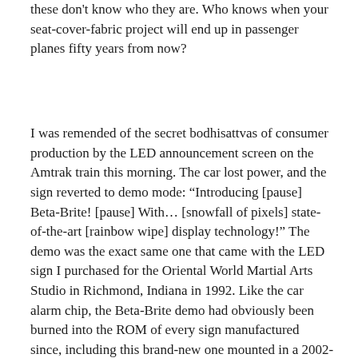these don't know who they are. Who knows when your seat-cover-fabric project will end up in passenger planes fifty years from now?
I was remended of the secret bodhisattvas of consumer production by the LED announcement screen on the Amtrak train this morning. The car lost power, and the sign reverted to demo mode: “Introducing [pause] Beta-Brite! [pause] With… [snowfall of pixels] state-of-the-art [rainbow wipe] display technology!” The demo was the exact same one that came with the LED sign I purchased for the Oriental World Martial Arts Studio in Richmond, Indiana in 1992. Like the car alarm chip, the Beta-Brite demo had obviously been burned into the ROM of every sign manufactured since, including this brand-new one mounted in a 2002-vintage Amtrak car. “No Sm0king!” said the sign, a curl of red LED smoke wiggling from behind the circle-and-slash that made the “O”. Next, a car smashed into a martini glass, and a five-pixel stick figure cartwheeled through the windshield. “Please: [another snowfall] Don’t drink and drive!”